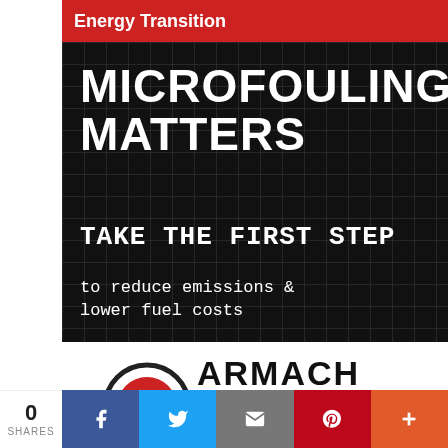Energy Transition
[Figure (illustration): Dark grid-background advertisement for Armach Robotics featuring text: MICROFOULING MATTERS / TAKE THE FIRST STEP / to reduce emissions & lower fuel costs]
[Figure (logo): Armach Robotics logo with semicircle/dome icon and stylized text]
Featured Content
Designing ships for efficiency and sustainability
[Figure (photo): Blue-toned partial image of a ship or maritime scene]
0 SHARES | Facebook | Twitter | Email | Pinterest | More